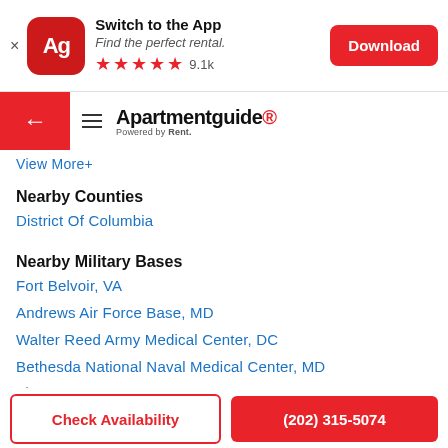[Figure (screenshot): App download banner with Apartmentguide Ag icon, 'Switch to the App', 'Find the perfect rental.', 5 red stars, 9.1k rating, Download button]
Apartmentguide Powered by Rent. (navigation bar with back arrow and hamburger menu)
View More+
Nearby Counties
District Of Columbia
Nearby Military Bases
Fort Belvoir, VA
Andrews Air Force Base, MD
Walter Reed Army Medical Center, DC
Bethesda National Naval Medical Center, MD
View More+
Check Availability | (202) 315-5074